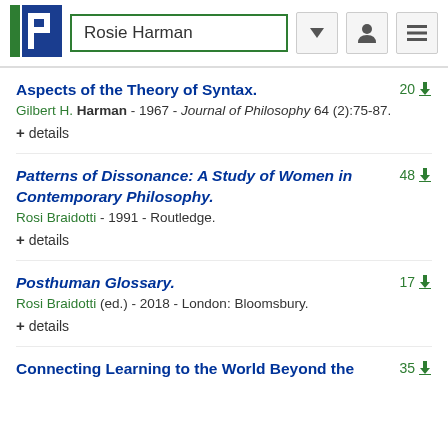Rosie Harman
Aspects of the Theory of Syntax.
Gilbert H. Harman - 1967 - Journal of Philosophy 64 (2):75-87.
+ details
Patterns of Dissonance: A Study of Women in Contemporary Philosophy.
Rosi Braidotti - 1991 - Routledge.
+ details
Posthuman Glossary.
Rosi Braidotti (ed.) - 2018 - London: Bloomsbury.
+ details
Connecting Learning to the World Beyond the